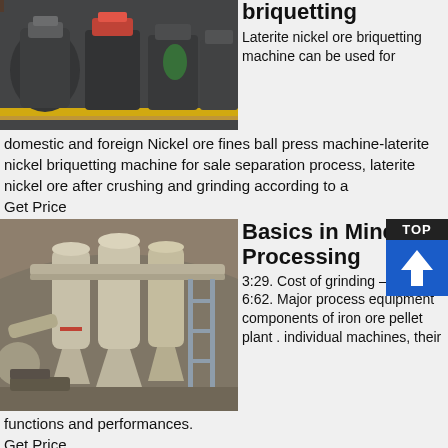[Figure (photo): Industrial machines and equipment in a factory/workshop setting, showing briquetting machines]
briquetting
Laterite nickel ore briquetting machine can be used for domestic and foreign Nickel ore fines ball press machine-laterite nickel briquetting machine for sale separation process, laterite nickel ore after crushing and grinding according to a
Get Price
[Figure (photo): Industrial grinding/milling equipment with cyclone separators and pipes in a facility]
Basics in Minerals Processing
3:29. Cost of grinding – typical . 6:62. Major process equipment components of iron ore pellet plant . individual machines, their functions and performances.
Get Price
[Figure (photo): Partially visible photo at bottom of page, industrial/minerals processing related]
Related To...